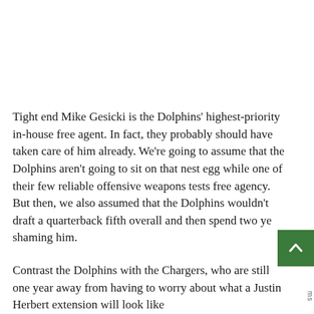Tight end Mike Gesicki is the Dolphins' highest-priority in-house free agent. In fact, they probably should have taken care of him already. We're going to assume that the Dolphins aren't going to sit on that nest egg while one of their few reliable offensive weapons tests free agency. But then, we also assumed that the Dolphins wouldn't draft a quarterback fifth overall and then spend two ye shaming him.
Contrast the Dolphins with the Chargers, who are still one year away from having to worry about what a Justin Herbert extension will look like